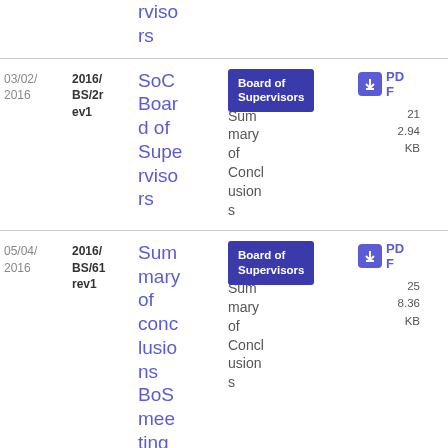| Date | Reference | Title | Body | Document Type | PDF |
| --- | --- | --- | --- | --- | --- |
|  |  | rvisors | Board of Supervisors | Summary of Conclusions | PDF 2.94 KB 21 |
| 03/02/2016 | 2016/BS/2rev1 | SoC Board of Supervisors | Board of Supervisors | Summary of Conclusions | PDF 2.94 KB 21 |
| 05/04/2016 | 2016/BS/61 rev1 | Summary of conclusions BoS meeting 27/01/20 | Board of Supervisors | Summary of Conclusions | PDF 8.36 KB 25 |